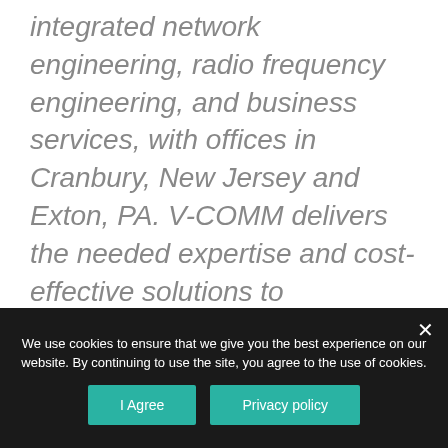integrated network engineering, radio frequency engineering, and business services, with offices in Cranbury, New Jersey and Exton, PA. V-COMM delivers the needed expertise and cost-effective solutions to governmental agencies and wireless operators. V-COMM also provides design and design/build services for In-building, In-tunnel and other wireless telecommunications networks. For more information, visit our website
We use cookies to ensure that we give you the best experience on our website. By continuing to use the site, you agree to the use of cookies.
I Agree
Privacy policy